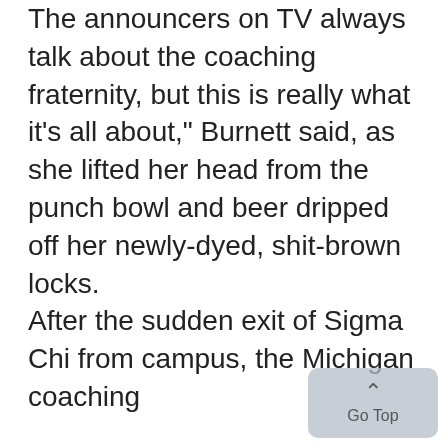The announcers on TV always talk about the coaching fraternity, but this is really what it's all about," Burnett said, as she lifted her head from the punch bowl and beer dripped off her newly-dyed, shit-brown locks. After the sudden exit of Sigma Chi from campus, the Michigan coaching fraternity, which had never before had a house to call its own, took over. "The first party was totally tubular," said Engineering freshman Rajib Patel.